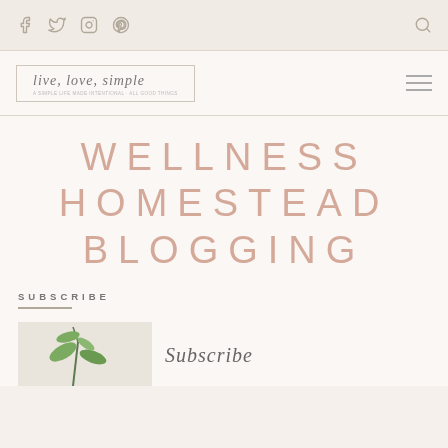Live, Love, Simple — Navigation bar with social icons (Facebook, Twitter, Instagram, Pinterest) and search
[Figure (logo): Live, Love, Simple blog logo with cursive script text and subtitle line, inside a rectangular border]
WELLNESS
HOMESTEAD
BLOGGING
SUBSCRIBE
[Figure (photo): Partial photo of green plant stems with leaves, with italic cursive text starting below]